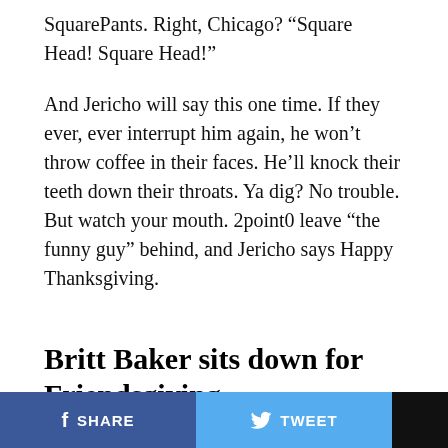SquarePants. Right, Chicago? “Square Head! Square Head!”
And Jericho will say this one time. If they ever, ever interrupt him again, he won’t throw coffee in their faces. He’ll knock their teeth down their throats. Ya dig? No trouble. But watch your mouth. 2point0 leave “the funny guy” behind, and Jericho says Happy Thanksgiving.
Britt Baker sits down for Friendsgiving.
She, Tony Schiavone and Rebel sit at the table, and Britt says this didn’t go as planned. But she will say that she is thankful that she could give them the best Thanksgiving
SHARE  TWEET